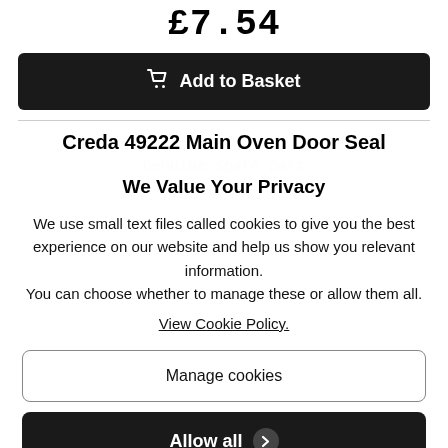£7.54
Add to Basket
Creda 49222 Main Oven Door Seal
Genuine spare part
We Value Your Privacy
We use small text files called cookies to give you the best experience on our website and help us show you relevant information.
You can choose whether to manage these or allow them all.
View Cookie Policy.
Manage cookies
Allow all